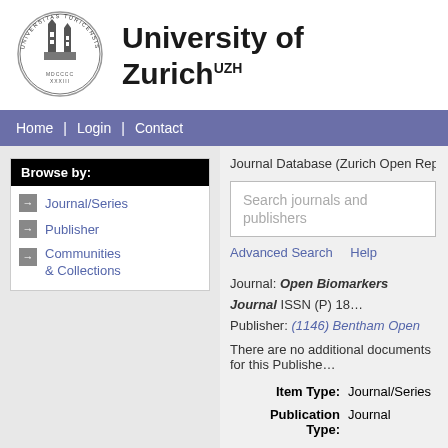[Figure (logo): University of Zurich circular seal/crest with towers]
University of Zurich UZH
Home | Login | Contact
Browse by:
Journal/Series
Publisher
Communities & Collections
Journal Database (Zurich Open Repository and Ar...
Search journals and publishers
Advanced Search   Help
Journal: Open Biomarkers Journal ISSN (P) 18... Publisher: (1146) Bentham Open
There are no additional documents for this Publisher...
Item Type:  Journal/Series
Publication Type:  Journal
Refereed:  Yes